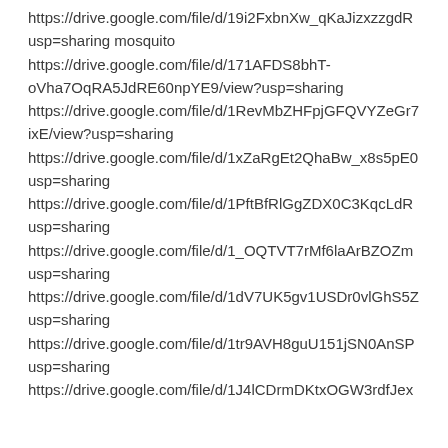https://drive.google.com/file/d/19i2FxbnXw_qKaJizxzzgdR... usp=sharing mosquito
https://drive.google.com/file/d/171AFDS8bhT-oVha7OqRA5JdRE60npYE9/view?usp=sharing
https://drive.google.com/file/d/1RevMbZHFpjGFQVYZeGr7... ixE/view?usp=sharing
https://drive.google.com/file/d/1xZaRgEt2QhaBw_x8s5pE0... usp=sharing
https://drive.google.com/file/d/1PftBfRlGgZDX0C3KqcLdR... usp=sharing
https://drive.google.com/file/d/1_OQTVT7rMf6laArBZOZm... usp=sharing
https://drive.google.com/file/d/1dV7UK5gv1USDr0vlGhS5Z... usp=sharing
https://drive.google.com/file/d/1tr9AVH8guU151jSN0AnSP... usp=sharing
https://drive.google.com/file/d/1J4lCDrmDKtxOGW3rdfJex...